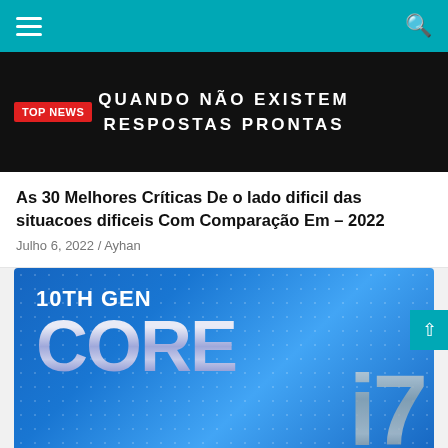Navigation bar with hamburger menu and search icon
[Figure (screenshot): Dark banner image with white uppercase text 'QUANDO NÃO EXISTEM RESPOSTAS PRONTAS' and a red 'TOP NEWS' badge on the left]
As 30 Melhores Críticas De o lado dificil das situacoes dificeis Com Comparação Em – 2022
Julho 6, 2022 / Ayhan
[Figure (photo): Intel 10th Gen Core i7 promotional image with blue background and large metallic silver text]